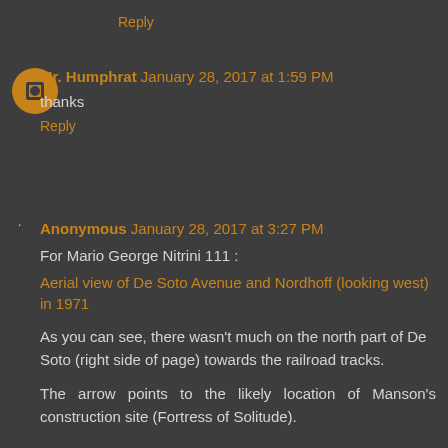Reply
Mr. Humphrat January 28, 2017 at 1:59 PM
thanks
Reply
Anonymous January 28, 2017 at 3:27 PM
For Mario George Nitrini 111 :
Aerial view of De Soto Avenue and Nordhoff (looking west) in 1971
As you can see, there wasn't much on the north part of De Soto (right side of page) towards the railroad tracks.
The arrow points to the likely location of Manson's construction site (Fortress of Solitude).